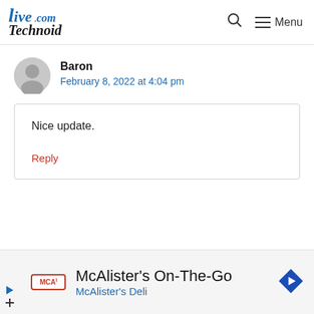LiveTechnoid.com — Menu
Baron
February 8, 2022 at 4:04 pm
Nice update.
Reply
[Figure (infographic): Advertisement banner for McAlister's On-The-Go by McAlister's Deli with logo and navigation arrow icon]